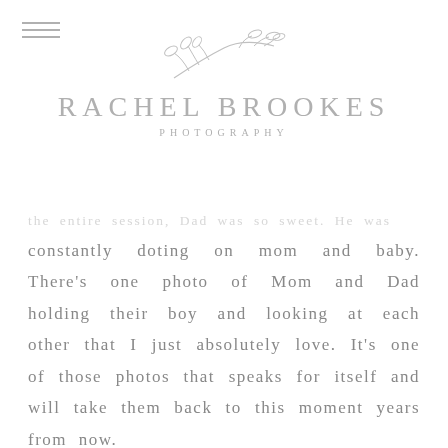[Figure (logo): Rachel Brookes Photography logo with botanical leaf/branch illustration above the text]
the entire session, Dad was so sweet. He was constantly doting on mom and baby. There's one photo of Mom and Dad holding their boy and looking at each other that I just absolutely love. It's one of those photos that speaks for itself and will take them back to this moment years from now.